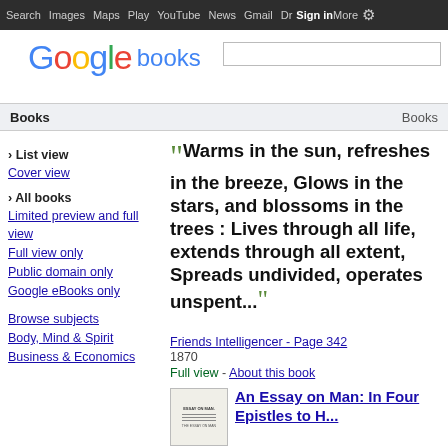Search  Images  Maps  Play  YouTube  News  Gmail  Drive  More  Sign in  [settings]
[Figure (logo): Google books logo with colored letters and search box]
Books | Books
› List view
Cover view
› All books
Limited preview and full view
Full view only
Public domain only
Google eBooks only
Browse subjects
Body, Mind & Spirit
Business & Economics
"Warms in the sun, refreshes in the breeze, Glows in the stars, and blossoms in the trees : Lives through all life, extends through all extent, Spreads undivided, operates unspent..."
Friends Intelligencer - Page 342
1870
Full view - About this book
An Essay on Man: In Four Epistles to H...